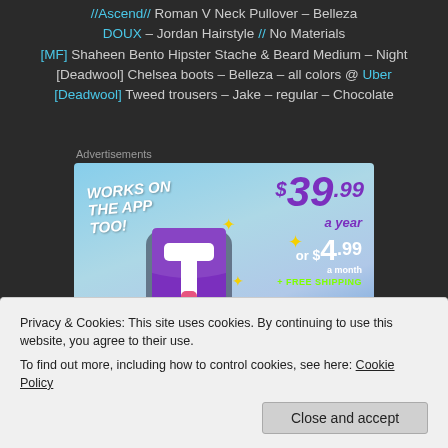//Ascend// Roman V Neck Pullover – Belleza DOUX – Jordan Hairstyle // No Materials [MF] Shaheen Bento Hipster Stache & Beard Medium – Night [Deadwool] Chelsea boots – Belleza – all colors @ Uber [Deadwool] Tweed trousers – Jake – regular – Chocolate
Advertisements
[Figure (other): Tumblr advertisement banner showing 'WORKS ON THE APP TOO!' with pricing: $39.99 a year or $4.99 a month + FREE SHIPPING, with Tumblr logo]
Privacy & Cookies: This site uses cookies. By continuing to use this website, you agree to their use.
To find out more, including how to control cookies, see here: Cookie Policy
Close and accept